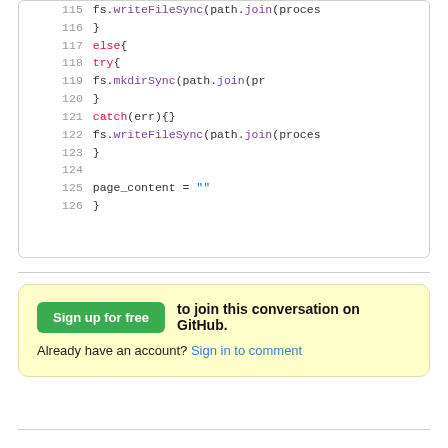[Figure (screenshot): Code snippet showing JavaScript lines 115-126 with syntax highlighting. Lines include fs.writeFileSync, else, try, fs.mkdirSync, catch(err){}, fs.writeFileSync, closing braces, and page_content = empty string.]
Sign up for free to join this conversation on GitHub. Already have an account? Sign in to comment